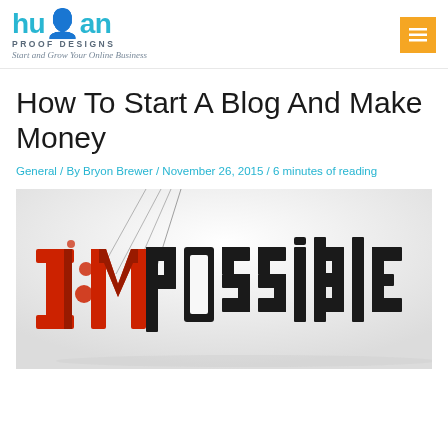[Figure (logo): Human Proof Designs logo with cyan text and person icon, tagline: Start and Grow Your Online Business]
[Figure (other): Orange hamburger menu button in top right corner]
How To Start A Blog And Make Money
General / By Bryon Brewer / November 26, 2015 / 6 minutes of reading
[Figure (photo): Image showing the word 'Impossible' with red 3D letters breaking/exploding at the Im part, and black 3D letters for 'possible', representing making the impossible possible]